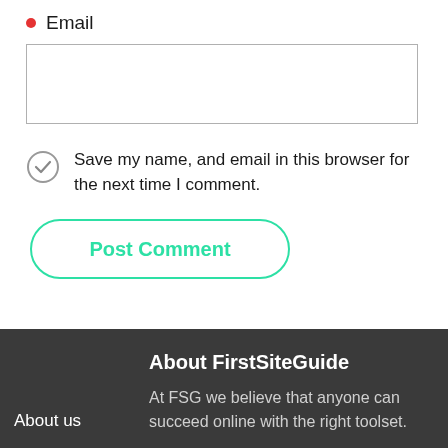Email
[Figure (other): Empty email input text box]
Save my name, and email in this browser for the next time I comment.
Post Comment
About FirstSiteGuide
About us
At FSG we believe that anyone can succeed online with the right toolset.